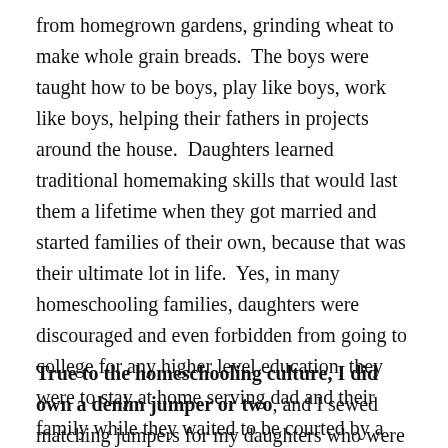from homegrown gardens, grinding wheat to make whole grain breads.  The boys were taught how to be boys, play like boys, work like boys, helping their fathers in projects around the house.  Daughters learned traditional homemaking skills that would last them a lifetime when they got married and started families of their own, because that was their ultimate lot in life.  Yes, in many homeschooling families, daughters were discouraged and even forbidden from going to college for any higher level education, they were to stay at home serving dad and their family while they waited to be courted by a young man approved by their father.
True to the homeschooling culture, I did own a denim jumper or two, and I sewed matching jumpers for my daughters who were 7 years apart in age.  My five boys may thank me that they never had matching homeschool